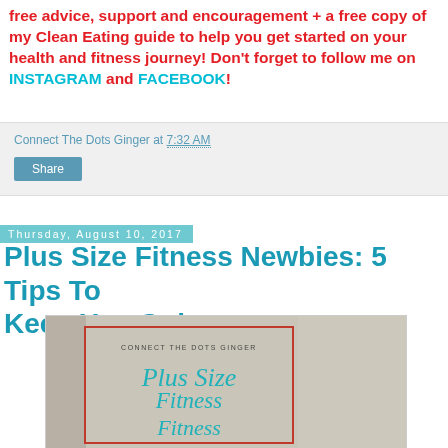free advice, support and encouragement + a free copy of my Clean Eating guide to help you get started on your health and fitness journey! Don't forget to follow me on INSTAGRAM and FACEBOOK!
Connect The Dots Ginger at 7:32 AM
Share
Thursday, August 10, 2017
Plus Size Fitness Newbies: 5 Tips To Keep You Going
[Figure (illustration): Blog post featured image with text 'CONNECT THE DOTS GINGER' and cursive title 'Plus Size Fitness' on teal colored text, with a red border overlay on a light background]